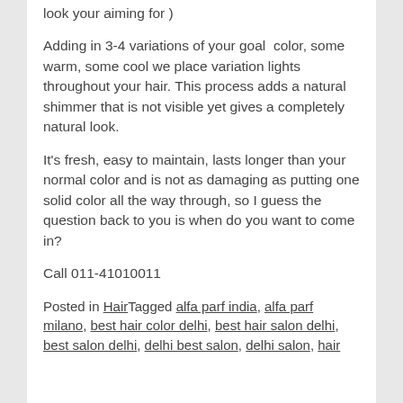look your aiming for )
Adding in 3-4 variations of your goal  color, some warm, some cool we place variation lights throughout your hair. This process adds a natural shimmer that is not visible yet gives a completely natural look.
It's fresh, easy to maintain, lasts longer than your normal color and is not as damaging as putting one solid color all the way through, so I guess the question back to you is when do you want to come in?
Call 011-41010011
Posted in HairTagged alfa parf india, alfa parf milano, best hair color delhi, best hair salon delhi, best salon delhi, delhi best salon, delhi salon, hair